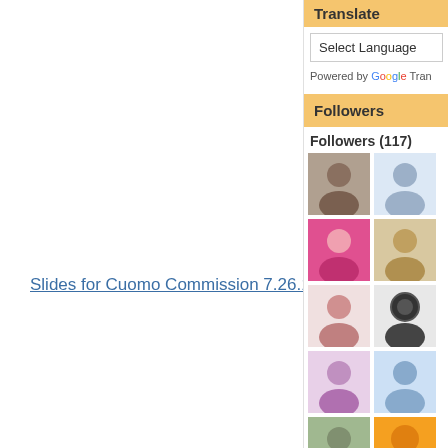Slides for Cuomo Commission 7.26.12
Translate
Select Language
Powered by Google Translate
Followers
Followers (117)
[Figure (photo): Grid of follower profile photos and avatars, 8 rows of 2 images each]
Slides for Cuomo Commission 7.26.12